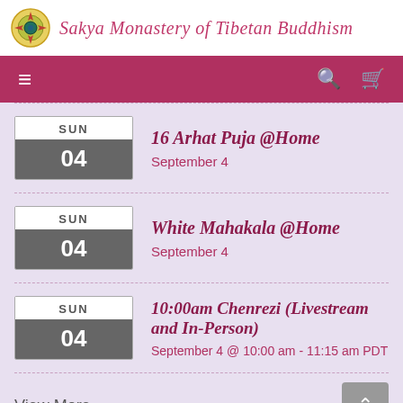Sakya Monastery of Tibetan Buddhism
16 Arhat Puja @Home — September 4
White Mahakala @Home — September 4
10:00am Chenrezi (Livestream and In-Person) — September 4 @ 10:00 am - 11:15 am PDT
View More...